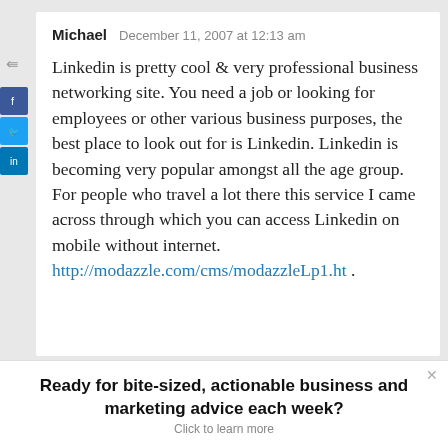Michael   December 11, 2007 at 12:13 am
Linkedin is pretty cool & very professional business networking site. You need a job or looking for employees or other various business purposes, the best place to look out for is Linkedin. Linkedin is becoming very popular amongst all the age group. For people who travel a lot there this service I came across through which you can access Linkedin on mobile without internet. http://modazzle.com/cms/modazzleLp1.ht .
Ready for bite-sized, actionable business and marketing advice each week? Click to learn more